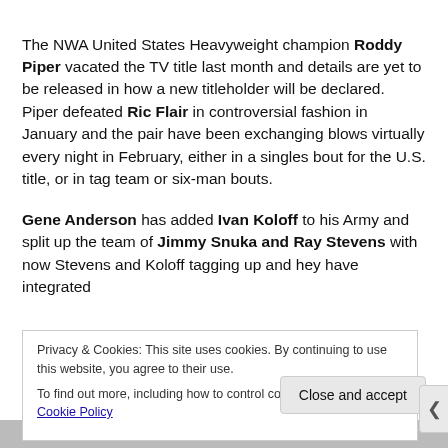The NWA United States Heavyweight champion Roddy Piper vacated the TV title last month and details are yet to be released in how a new titleholder will be declared.  Piper defeated Ric Flair in controversial fashion in January and the pair have been exchanging blows virtually every night in February, either in a singles bout for the U.S. title, or in tag team or six-man bouts.
Gene Anderson has added Ivan Koloff to his Army and split up the team of Jimmy Snuka and Ray Stevens with now Stevens and Koloff tagging up and hey have integrated t... i... s...
Privacy & Cookies: This site uses cookies. By continuing to use this website, you agree to their use.
To find out more, including how to control cookies, see here: Cookie Policy
Close and accept